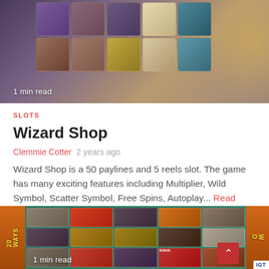[Figure (screenshot): Screenshot of a wizard-themed slot game with a grid of colorful magical items and treasure boxes on a dark background. Text overlay '1 min read' in bottom left.]
SLOTS
Wizard Shop
Clemmie Cotter  2 years ago
Wizard Shop is a 50 paylines and 5 reels slot. The game has many exciting features including Multiplier, Wild Symbol, Scatter Symbol, Free Spins, Autoplay... Read More
[Figure (screenshot): Screenshot of a Day of the Dead / Mexican-themed slot game showing colorful reels with skulls, flowers, fruit, chalices. '20 WAYS' text on sides, 'BONUS' visible. '1 min read' text bottom left. IGT logo bottom right.]